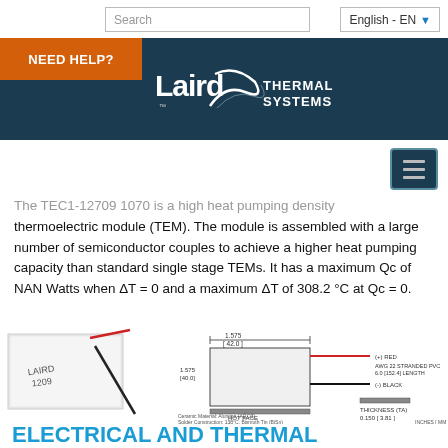Search | English - EN
NEED HELP? | Laird THERMAL SYSTEMS
thermoelectric module (TEM). The module is assembled with a large number of semiconductor couples to achieve a higher heat pumping capacity than standard single stage TEMs. It has a maximum Qc of NAN Watts when ΔT = 0 and a maximum ΔT of 308.2 °C at Qc = 0.
[Figure (engineering-diagram): Photo of Laird 1209 thermoelectric module (white ceramic square with two wires, one red and one black) alongside a technical engineering drawing showing dimensions: 1.575 [42.0] width, 1.575 [40.0] height, 0.150 [3.81] thickness. Labels: (+) RED, AWG 22 STRANDED PVC 6.0 [152.4] LENGTH, (-) BLACK, COLD FACE, HOT FACE, THICKNESS (TA). Ceramic Material: Alumina (Al2O3), Solder Construction: 138°C, Bismuth Tin (BiSn). Units: INCHES [MM].]
ELECTRICAL AND THERMAL